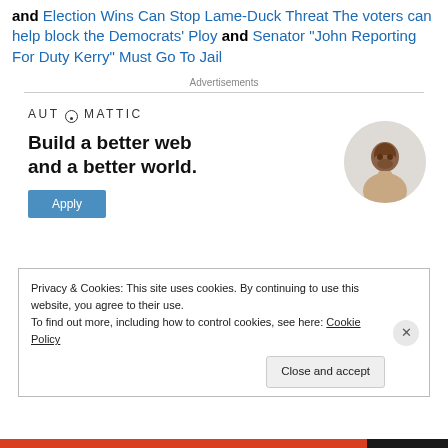and Election Wins Can Stop Lame-Duck Threat The voters can help block the Democrats' Ploy and Senator "John Reporting For Duty Kerry" Must Go To Jail
Advertisements
[Figure (infographic): Automattic advertisement: 'Build a better web and a better world.' with Apply button and person photo]
Privacy & Cookies: This site uses cookies. By continuing to use this website, you agree to their use.
To find out more, including how to control cookies, see here: Cookie Policy
Close and accept